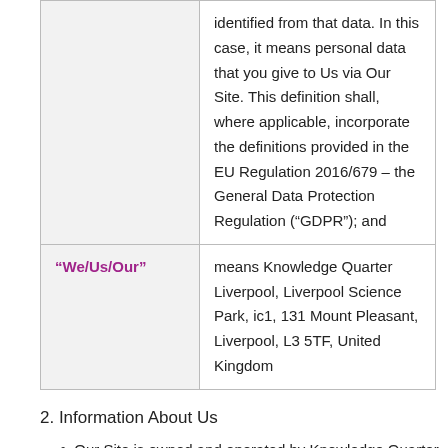|  | identified from that data. In this case, it means personal data that you give to Us via Our Site. This definition shall, where applicable, incorporate the definitions provided in the EU Regulation 2016/679 – the General Data Protection Regulation (“GDPR”); and |
| “We/Us/Our” | means Knowledge Quarter Liverpool, Liverpool Science Park, ic1, 131 Mount Pleasant, Liverpool, L3 5TF, United Kingdom |
2. Information About Us
Our Site is owned and operated by Knowledge Quarter Liverpool, whose